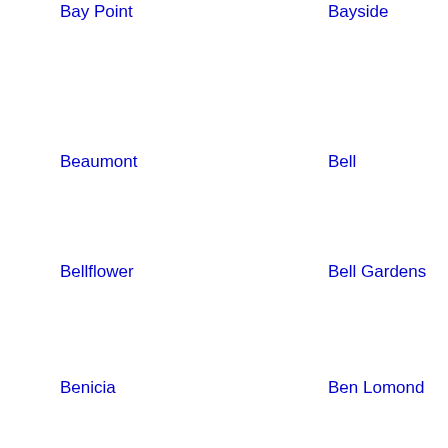Bay Point
Bayside
Bayview
Spri…
Beaumont
Bell
Bella Vista
Bell…
Bellflower
Bell Gardens
Belmont
Belv…
Benicia
Ben Lomond
Berkeley
Bern…
Dun…
Bertsch Oceanview
Bethel Island
Beverly Hills
Big B…
Big Bear Lake
Biggs
Big Pine
Biola…
Black Point
Bla…
Blackland…